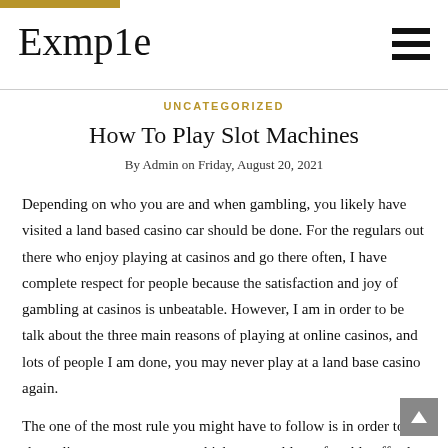Exmp1e
UNCATEGORIZED
How To Play Slot Machines
By Admin on Friday, August 20, 2021
Depending on who you are and when gambling, you likely have visited a land based casino car should be done. For the regulars out there who enjoy playing at casinos and go there often, I have complete respect for people because the satisfaction and joy of gambling at casinos is unbeatable. However, I am in order to be talk about the three main reasons of playing at online casinos, and lots of people I am done, you may never play at a land base casino again.
The one of the most rule you might have to follow is in order to slot online never put money which you could comfortably afford to lose. You will need to also help the rest so you are that you need to need. Since you are in it